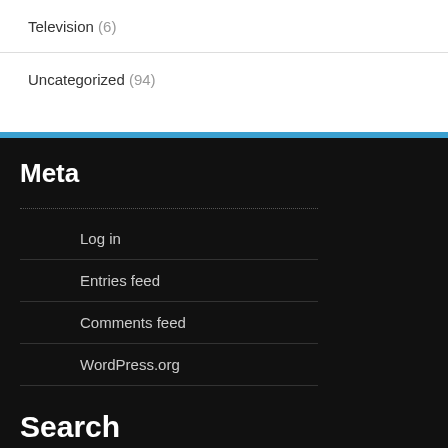Television (6)
Uncategorized (94)
Meta
Log in
Entries feed
Comments feed
WordPress.org
Search